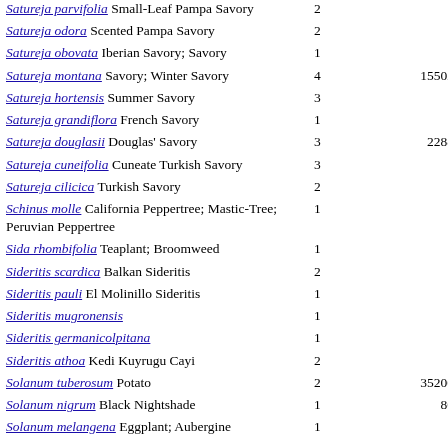| Species | Count | Value |
| --- | --- | --- |
| Satureja parvifolia Small-Leaf Pampa Savory | 2 |  |
| Satureja odora Scented Pampa Savory | 2 |  |
| Satureja obovata Iberian Savory; Savory | 1 |  |
| Satureja montana Savory; Winter Savory | 4 | 15502.0 |
| Satureja hortensis Summer Savory | 3 |  |
| Satureja grandiflora French Savory | 1 |  |
| Satureja douglasii Douglas' Savory | 3 | 2288.0 |
| Satureja cuneifolia Cuneate Turkish Savory | 3 |  |
| Satureja cilicica Turkish Savory | 2 |  |
| Schinus molle California Peppertree; Mastic-Tree; Peruvian Peppertree | 1 |  |
| Sida rhombifolia Teaplant; Broomweed | 1 |  |
| Sideritis scardica Balkan Sideritis | 2 |  |
| Sideritis pauli El Molinillo Sideritis | 1 |  |
| Sideritis mugronensis | 1 |  |
| Sideritis germanicolpitana | 1 |  |
| Sideritis athoa Kedi Kuyrugu Cayi | 2 |  |
| Solanum tuberosum Potato | 2 | 35200.0 |
| Solanum nigrum Black Nightshade | 1 | 80.0 |
| Solanum melongena Eggplant; Aubergine | 1 |  |